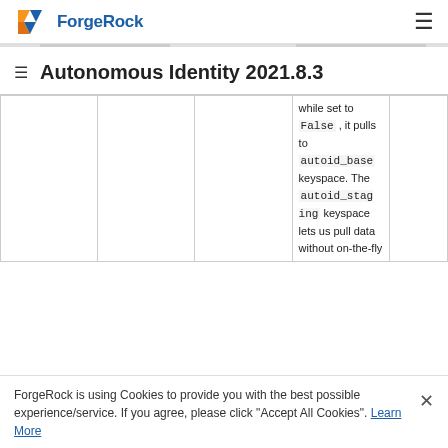ForgeRock — Autonomous Identity 2021.8.3
Autonomous Identity 2021.8.3
|  |  |  | while set to False , it pulls to autoid_base keyspace. The autoid_staging keyspace lets us pull data without on-the-fly |  |
ForgeRock is using Cookies to provide you with the best possible experience/service. If you agree, please click "Accept All Cookies". Learn More